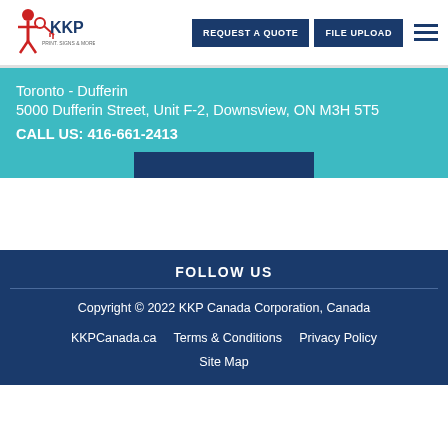[Figure (logo): KKP logo with red figure and key icon, text KKP PRINT, SIGNS & MORE]
REQUEST A QUOTE
FILE UPLOAD
Toronto - Dufferin
5000 Dufferin Street, Unit F-2, Downsview, ON M3H 5T5
CALL US: 416-661-2413
FOLLOW US
Copyright © 2022 KKP Canada Corporation, Canada
KKPCanada.ca   Terms & Conditions   Privacy Policy
Site Map
KKPCanada.ca | Terms & Conditions | Privacy Policy | Site Map